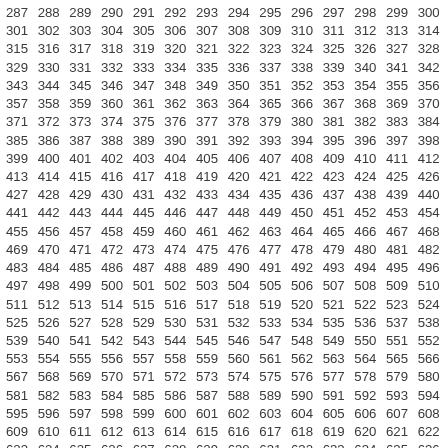287 288 289 290 291 292 293 294 295 296 297 298 299 300 301 302 303 304 305 306 307 308 309 310 311 312 313 314 315 316 317 318 319 320 321 322 323 324 325 326 327 328 329 330 331 332 333 334 335 336 337 338 339 340 341 342 343 344 345 346 347 348 349 350 351 352 353 354 355 356 357 358 359 360 361 362 363 364 365 366 367 368 369 370 371 372 373 374 375 376 377 378 379 380 381 382 383 384 385 386 387 388 389 390 391 392 393 394 395 396 397 398 399 400 401 402 403 404 405 406 407 408 409 410 411 412 413 414 415 416 417 418 419 420 421 422 423 424 425 426 427 428 429 430 431 432 433 434 435 436 437 438 439 440 441 442 443 444 445 446 447 448 449 450 451 452 453 454 455 456 457 458 459 460 461 462 463 464 465 466 467 468 469 470 471 472 473 474 475 476 477 478 479 480 481 482 483 484 485 486 487 488 489 490 491 492 493 494 495 496 497 498 499 500 501 502 503 504 505 506 507 508 509 510 511 512 513 514 515 516 517 518 519 520 521 522 523 524 525 526 527 528 529 530 531 532 533 534 535 536 537 538 539 540 541 542 543 544 545 546 547 548 549 550 551 552 553 554 555 556 557 558 559 560 561 562 563 564 565 566 567 568 569 570 571 572 573 574 575 576 577 578 579 580 581 582 583 584 585 586 587 588 589 590 591 592 593 594 595 596 597 598 599 600 601 602 603 604 605 606 607 608 609 610 611 612 613 614 615 616 617 618 619 620 621 622 623 624 625 626 627 628 629 630 631 632 633 634 635 636 637 638 639 640 641 642 643 644 645 646 647 648 649 650 651 652 653 654 655 656 657 658 659 660 661 662 663 664 665 666 667 668 669 670 671 672 673 674 675 676 677 678 679 680 681 682 683 684 685 686 687 688 689 690 691 692 693 694 695 696 697 698 699 700 701 702 703 704 705 706 707 708 709 710 711 712 713 714 715 716 717 718 719 720 721 722 723 724 725 726 727 728 729 730 731 732 733 734 735 736 737 738 739 740 741 742 743 744 745 746 747 748 749 750 751 752 753 754 755 756 757 758 759 760 761 762 763 764 765 766 767 768 769 770 771 772 773 774 775 776 777 778 779 780 781 782 783 784 785 786 787 788 789 790 791 792 793 794 795 796 797 798 799 800 801 802 803 804 805 806 807 808 809 810 811 812 813